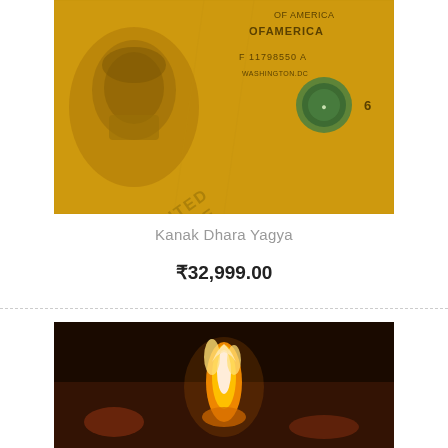[Figure (photo): Golden/yellow tinted US dollar bills fanned out, showing Benjamin Franklin portrait and serial number F11798550A, Washington DC, value 6]
Kanak Dhara Yagya
₹32,999.00
[Figure (photo): Dark background image of a bright white/gold flame or fire with what appears to be a ritual fire (yagya/havan) scene]